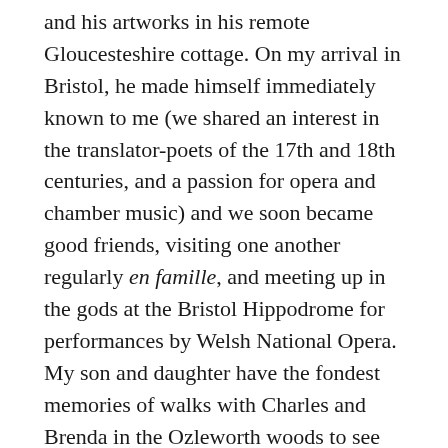and his artworks in his remote Gloucesteshire cottage. On my arrival in Bristol, he made himself immediately known to me (we shared an interest in the translator-poets of the 17th and 18th centuries, and a passion for opera and chamber music) and we soon became good friends, visiting one another regularly en famille, and meeting up in the gods at the Bristol Hippodrome for performances by Welsh National Opera. My son and daughter have the fondest memories of walks with Charles and Brenda in the Ozleworth woods to see the local badgers' setts, of conversations with Charles about fishing – and of Brenda's delicious teas.
The last few years were not kind to Charles. Two failed cataract operations left him virtually blind (a cruel blow for someone with such an acute visual sense), and a heart condition, combined with memory